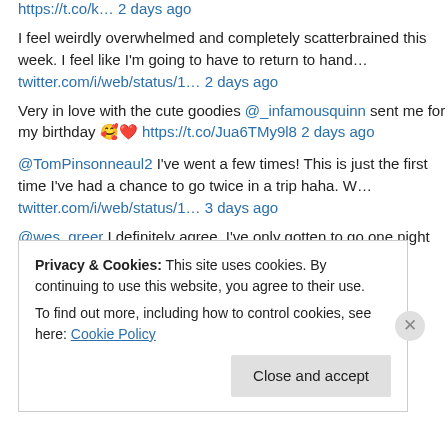https://t.co/k… 2 days ago
I feel weirdly overwhelmed and completely scatterbrained this week. I feel like I'm going to have to return to hand…
twitter.com/i/web/status/1… 2 days ago
Very in love with the cute goodies @_infamousquinn sent me for my birthday 🥰❤️ https://t.co/Jua6TMy9l8 2 days ago
@TomPinsonneaul2 I've went a few times! This is just the first time I've had a chance to go twice in a trip haha. W…
twitter.com/i/web/status/1… 3 days ago
@wes_greer I definitely agree. I've only gotten to go one night every
Privacy & Cookies: This site uses cookies. By continuing to use this website, you agree to their use.
To find out more, including how to control cookies, see here: Cookie Policy
Close and accept